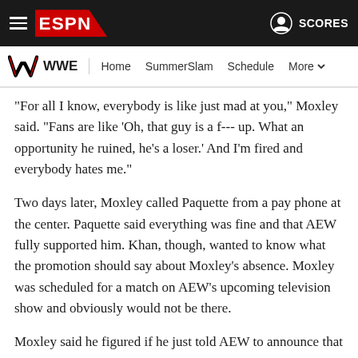ESPN WWE — Home SummerSlam Schedule More
"For all I know, everybody is like just mad at you," Moxley said. "Fans are like 'Oh, that guy is a f--- up. What an opportunity he ruined, he's a loser.' And I'm fired and everybody hates me."
Two days later, Moxley called Paquette from a pay phone at the center. Paquette said everything was fine and that AEW fully supported him. Khan, though, wanted to know what the promotion should say about Moxley's absence. Moxley was scheduled for a match on AEW's upcoming television show and obviously would not be there.
Moxley said he figured if he just told AEW to announce that he was out for personal reasons, the rumors would be worse than what was happening. He saw no reason to lie and felt a burden